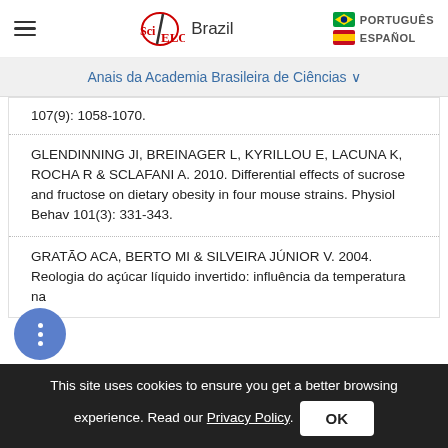SciELO Brazil | PORTUGUÊS | ESPAÑOL
Anais da Academia Brasileira de Ciências ∨
107(9): 1058-1070.
GLENDINNING JI, BREINAGER L, KYRILLOU E, LACUNA K, ROCHA R & SCLAFANI A. 2010. Differential effects of sucrose and fructose on dietary obesity in four mouse strains. Physiol Behav 101(3): 331-343.
GRATÃO ACA, BERTO MI & SILVEIRA JÚNIOR V. 2004. Reologia do açúcar líquido invertido: influência da temperatura na
This site uses cookies to ensure you get a better browsing experience. Read our Privacy Policy. OK